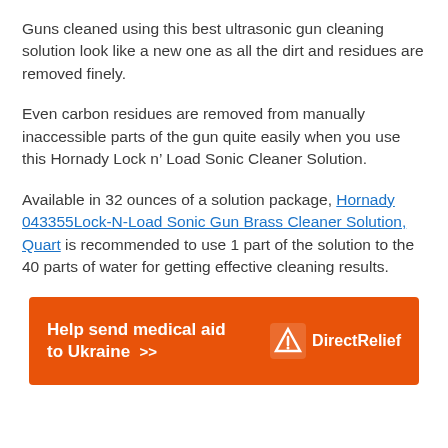Guns cleaned using this best ultrasonic gun cleaning solution look like a new one as all the dirt and residues are removed finely.
Even carbon residues are removed from manually inaccessible parts of the gun quite easily when you use this Hornady Lock n’ Load Sonic Cleaner Solution.
Available in 32 ounces of a solution package, Hornady 043355Lock-N-Load Sonic Gun Brass Cleaner Solution, Quart is recommended to use 1 part of the solution to the 40 parts of water for getting effective cleaning results.
[Figure (infographic): Orange advertisement banner reading 'Help send medical aid to Ukraine >>' with DirectRelief logo on the right]